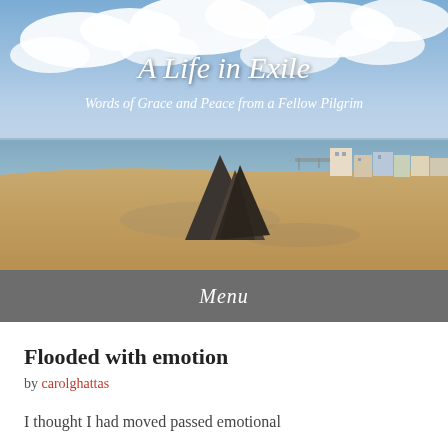[Figure (photo): Beach scene with a large rock formation in the foreground, sandy beach, calm sea, and a coastal town with buildings visible on the right. Sky with clouds overhead.]
A Life in Exile
Words of Grace and Peace from a Fellow Pilgrim
Menu
Flooded with emotion
by carolghattas
I thought I had moved passed emotional